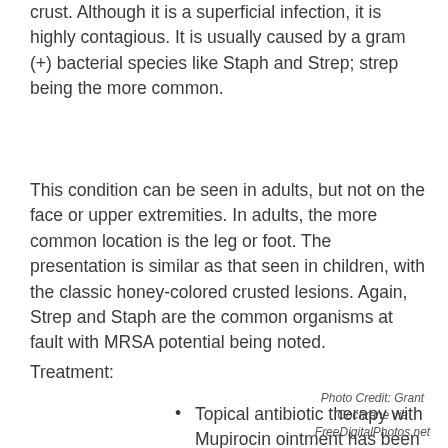crust. Although it is a superficial infection, it is highly contagious. It is usually caused by a gram (+) bacterial species like Staph and Strep; strep being the more common.
This condition can be seen in adults, but not on the face or upper extremities. In adults, the more common location is the leg or foot. The presentation is similar as that seen in children, with the classic honey-colored crusted lesions. Again, Strep and Staph are the common organisms at fault with MRSA potential being noted.
Treatment:
Topical antibiotic therapy with Mupirocin ointment has been
Photo Credit: Grant Cochrane via FreeDigitalPhotos.net